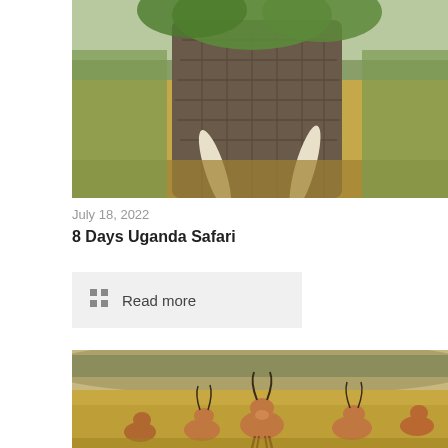[Figure (photo): Elephant with large tusks standing among tall grass and green bushes in African savanna]
July 18, 2022
8 Days Uganda Safari
Read more
[Figure (photo): Herd of impalas/antelopes in golden dry savanna grassland with blurred background hills]